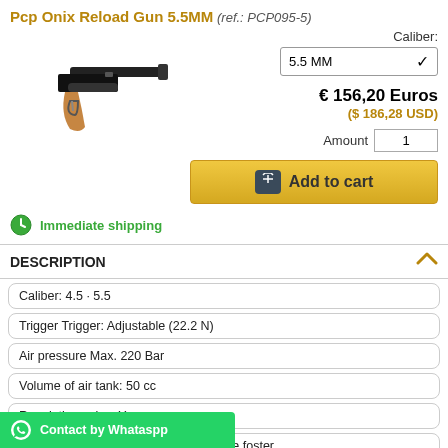Pcp Onix Reload Gun 5.5MM (ref.: PCP095-5)
[Figure (photo): PCP air pistol with wooden grip and long black barrel]
Caliber: 5.5 MM
€ 156,20 Euros
($ 186,28 USD)
Amount 1
Add to cart
Immediate shipping
DESCRIPTION
Caliber: 4.5 · 5.5
Trigger Trigger: Adjustable (22.2 N)
Air pressure Max. 220 Bar
Volume of air tank: 50 cc
Regulating valve: Yes
Charge probe with quick connector type foster
power of 17 joules